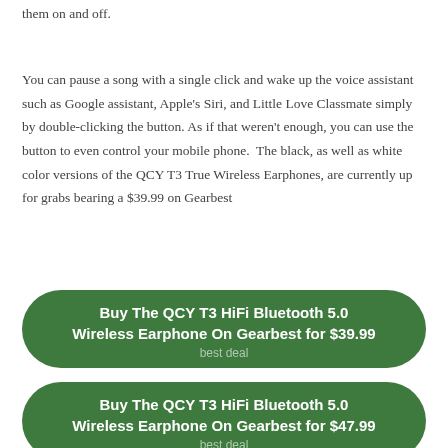them on and off.
You can pause a song with a single click and wake up the voice assistant such as Google assistant, Apple's Siri, and Little Love Classmate simply by double-clicking the button. As if that weren't enough, you can use the button to even control your mobile phone.  The black, as well as white color versions of the QCY T3 True Wireless Earphones, are currently up for grabs bearing a $39.99 on Gearbest
Buy The QCY T3 HiFi Bluetooth 5.0 Wireless Earphone On Gearbest for $39.99
best deal
Buy The QCY T3 HiFi Bluetooth 5.0 Wireless Earphone On Gearbest for $47.99
best deal